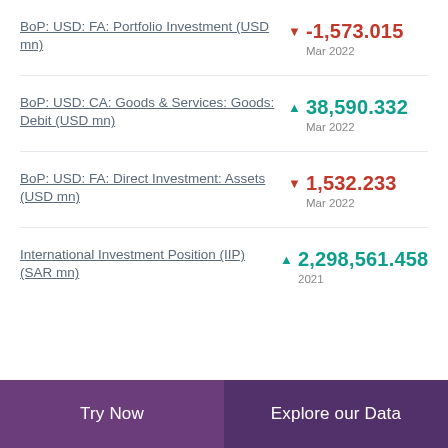BoP: USD: FA: Portfolio Investment (USD mn)
BoP: USD: CA: Goods & Services: Goods: Debit (USD mn)
BoP: USD: FA: Direct Investment: Assets (USD mn)
International Investment Position (IIP) (SAR mn)
Try Now | Explore our Data